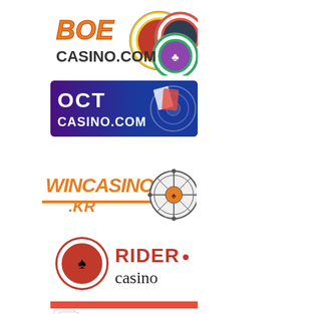[Figure (logo): BOE Casino logo with orange/red bold text 'BOE' and 'CASINO.COM', decorated with colorful poker chip rings]
[Figure (logo): OCT Casino banner with purple/blue background, white bold text 'OCT' and 'CASINO.COM', with a roulette wheel and playing cards]
[Figure (logo): WINCASINO.KR logo with orange bold text on white background, orange underline, and a roulette wheel graphic]
[Figure (logo): RIDER casino logo with red poker chip icon and red/black text on white background]
[Figure (logo): CHOEGO CASINO banner with green/red border, playing cards, and blue bold text on white/green background]